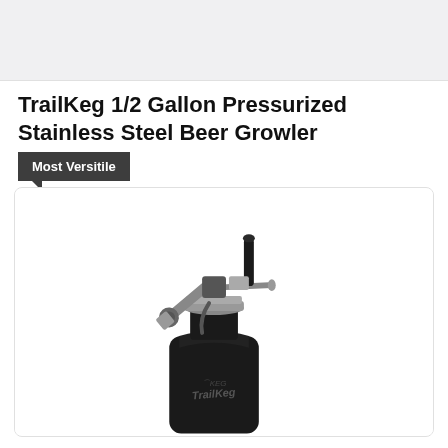[Figure (photo): Top banner area - light gray background placeholder image bar]
TrailKeg 1/2 Gallon Pressurized Stainless Steel Beer Growler
Most Versitile
[Figure (photo): Photo of a black matte stainless steel beer growler keg with a stainless steel tap assembly on top, including a black handle faucet, pressure regulator, and CO2 fitting. The label on the bottle reads 'TrailKeg'.]